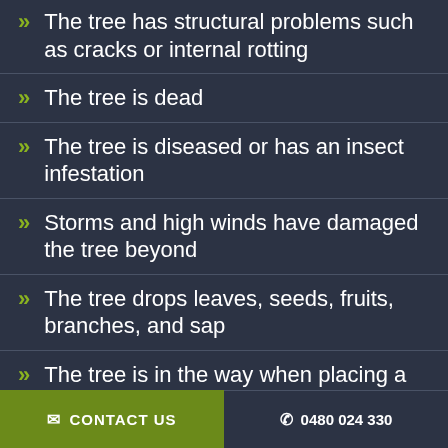The tree has structural problems such as cracks or internal rotting
The tree is dead
The tree is diseased or has an insect infestation
Storms and high winds have damaged the tree beyond
The tree drops leaves, seeds, fruits, branches, and sap
The tree is in the way when placing a boundary fence
CONTACT US   0480 024 330